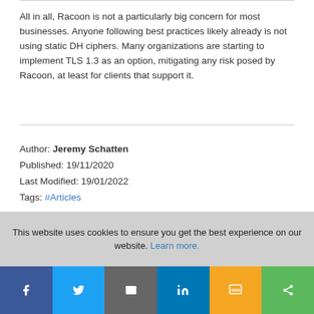All in all, Racoon is not a particularly big concern for most businesses. Anyone following best practices likely already is not using static DH ciphers. Many organizations are starting to implement TLS 1.3 as an option, mitigating any risk posed by Racoon, at least for clients that support it.
Author: Jeremy Schatten
Published: 19/11/2020
Last Modified: 19/01/2022
Tags: #Articles
This website uses cookies to ensure you get the best experience on our website. Learn more.